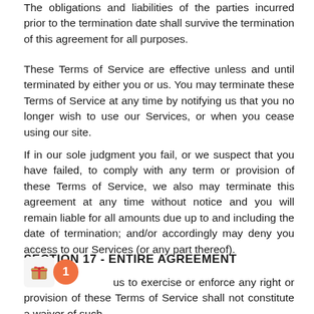The obligations and liabilities of the parties incurred prior to the termination date shall survive the termination of this agreement for all purposes.
These Terms of Service are effective unless and until terminated by either you or us. You may terminate these Terms of Service at any time by notifying us that you no longer wish to use our Services, or when you cease using our site.
If in our sole judgment you fail, or we suspect that you have failed, to comply with any term or provision of these Terms of Service, we also may terminate this agreement at any time without notice and you will remain liable for all amounts due up to and including the date of termination; and/or accordingly may deny you access to our Services (or any part thereof).
SECTION 17 - ENTIRE AGREEMENT
... us to exercise or enforce any right or provision of these Terms of Service shall not constitute a waiver of such ...